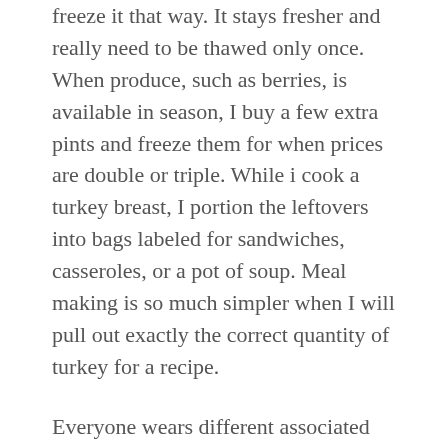freeze it that way. It stays fresher and really need to be thawed only once. When produce, such as berries, is available in season, I buy a few extra pints and freeze them for when prices are double or triple. While i cook a turkey breast, I portion the leftovers into bags labeled for sandwiches, casseroles, or a pot of soup. Meal making is so much simpler when I will pull out exactly the correct quantity of turkey for a recipe.
Everyone wears different associated with shoes to different kinds of events with certain regarding clothing. When choosing what a grouping of people want have for just about any wedding or anything else, they can all have the same regarding shoe and same shoe jewelry belonging to them. Nowadays